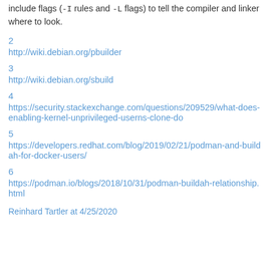include flags (-I rules and -L flags) to tell the compiler and linker where to look.
2
http://wiki.debian.org/pbuilder
3
http://wiki.debian.org/sbuild
4
https://security.stackexchange.com/questions/209529/what-does-enabling-kernel-unprivileged-userns-clone-do
5
https://developers.redhat.com/blog/2019/02/21/podman-and-buildah-for-docker-users/
6
https://podman.io/blogs/2018/10/31/podman-buildah-relationship.html
Reinhard Tartler at 4/25/2020